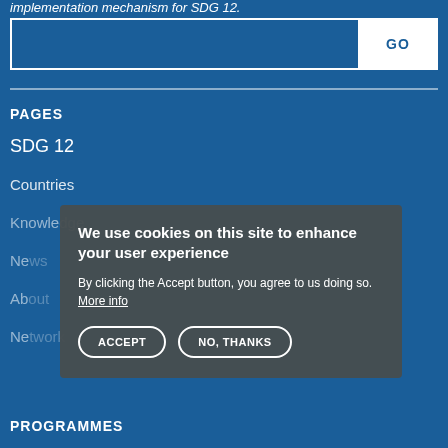implementation mechanism for SDG 12.
PAGES
SDG 12
Countries
Knowledge
News
About
Network
PROGRAMMES
We use cookies on this site to enhance your user experience
By clicking the Accept button, you agree to us doing so. More info